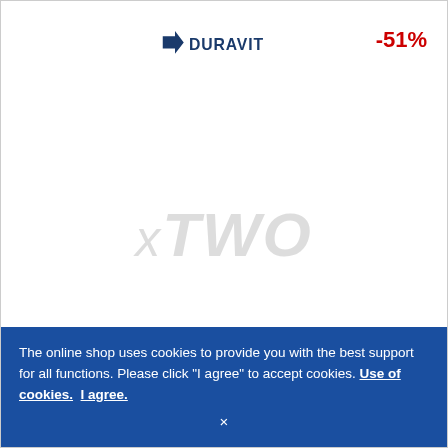[Figure (logo): Duravit logo in dark blue with arrow/check mark icon and text DURAVIT]
-51%
[Figure (photo): Product image placeholder showing watermark text 'xTWO' in light gray italic on white background]
DURAVIT XViu - Waschtischunterschrank 2 Auszüge 610x1000x480mm champagner matt/graphit supermatt B1
The online shop uses cookies to provide you with the best support for all functions. Please click "I agree" to accept cookies. Use of cookies.  I agree.
×